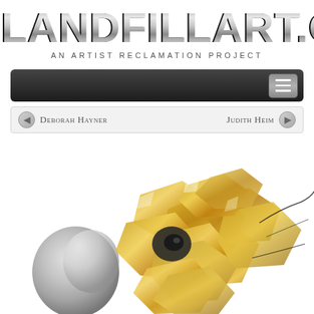[Figure (logo): LANDFILLART.ORG logo in large bold metallic chrome text with green-tinted fill, subtitle reads AN ARTIST RECLAMATION PROJECT]
[Figure (screenshot): Dark navigation bar with hamburger menu icon on right side]
[Figure (infographic): Navigation breadcrumb bar with left arrow and Deborah Hayner on left, Judith Heim with right arrow on right]
[Figure (photo): Photograph of a metallic sculptural assemblage made from crumpled gold and silver foil/metal pieces, resembling a destroyed musical instrument or industrial debris, placed on white background]